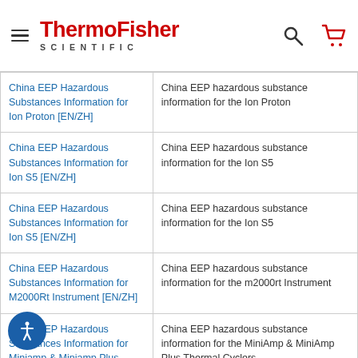ThermoFisher Scientific
| Link | Description |
| --- | --- |
| China EEP Hazardous Substances Information for Ion Proton [EN/ZH] | China EEP hazardous substance information for the Ion Proton |
| China EEP Hazardous Substances Information for Ion S5 [EN/ZH] | China EEP hazardous substance information for the Ion S5 |
| China EEP Hazardous Substances Information for Ion S5 [EN/ZH] | China EEP hazardous substance information for the Ion S5 |
| China EEP Hazardous Substances Information for M2000Rt Instrument [EN/ZH] | China EEP hazardous substance information for the m2000rt Instrument |
| China EEP Hazardous Substances Information for Miniamp & Miniamp Plus | China EEP hazardous substance information for the MiniAmp & MiniAmp Plus Thermal Cyclers |